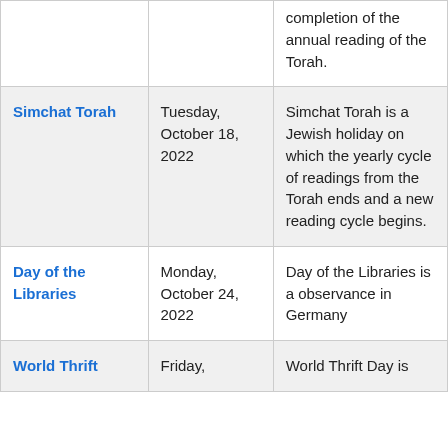| Holiday | Date | Description |
| --- | --- | --- |
|  |  | completion of the annual reading of the Torah. |
| Simchat Torah | Tuesday, October 18, 2022 | Simchat Torah is a Jewish holiday on which the yearly cycle of readings from the Torah ends and a new reading cycle begins. |
| Day of the Libraries | Monday, October 24, 2022 | Day of the Libraries is a observance in Germany |
| World Thrift | Friday, | World Thrift Day is |